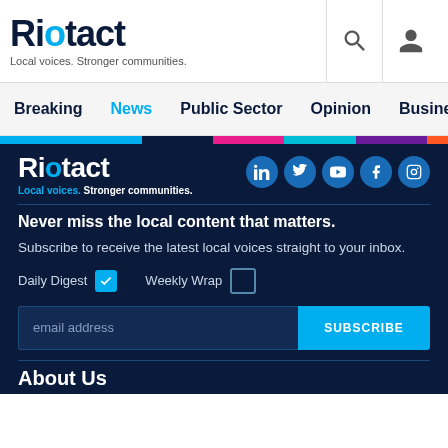Riotact — Local voices. Stronger communities.
Breaking | News | Public Sector | Opinion | Business | R
[Figure (logo): Riotact logo on dark blue background with social media icons: LinkedIn, Twitter, YouTube, Facebook, Instagram]
Never miss the local content that matters.
Subscribe to receive the latest local voices straight to your inbox.
Daily Digest [checked] Weekly Wrap [unchecked]
email address [SUBSCRIBE]
About Us